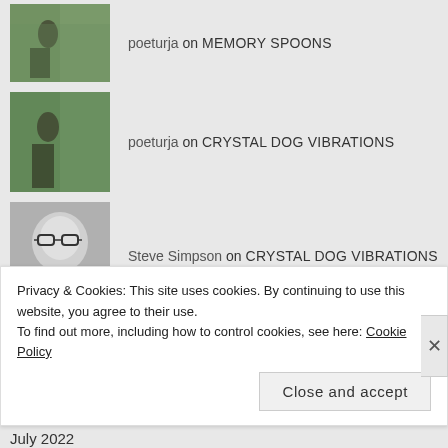poeturja on MEMORY SPOONS
poeturja on CRYSTAL DOG VIBRATIONS
Steve Simpson on CRYSTAL DOG VIBRATIONS
ARCHIVES
August 2022
July 2022
Privacy & Cookies: This site uses cookies. By continuing to use this website, you agree to their use.
To find out more, including how to control cookies, see here: Cookie Policy
Close and accept